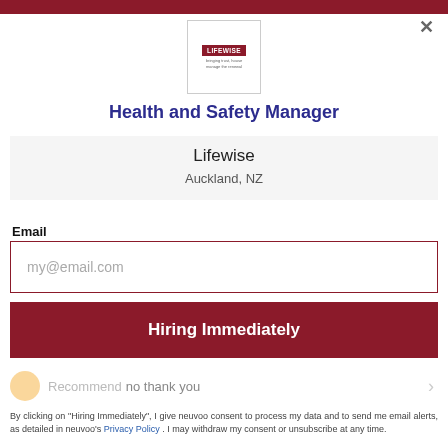[Figure (logo): Lifewise company logo — red rectangle with white text 'LIFEWISE' and small subtext below, inside a white bordered box]
Health and Safety Manager
Lifewise
Auckland, NZ
Email
my@email.com
Hiring Immediately
no thank you
By clicking on "Hiring Immediately", I give neuvoo consent to process my data and to send me email alerts, as detailed in neuvoo's Privacy Policy . I may withdraw my consent or unsubscribe at any time.